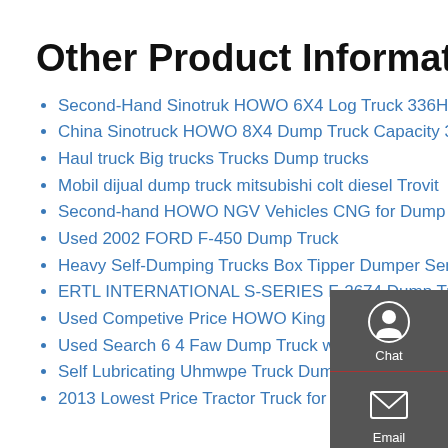Other Product Information
Second-Hand Sinotruk HOWO 6X4 Log Truck 336HP
China Sinotruck HOWO 8X4 Dump Truck Capacity 30ton
Haul truck Big trucks Trucks Dump trucks
Mobil dijual dump truck mitsubishi colt diesel Trovit
Second-hand HOWO NGV Vehicles CNG for Dump Truck 40
Used 2002 FORD F-450 Dump Truck
Heavy Self-Dumping Trucks Box Tipper Dumper Semi Trailer
ERTL INTERNATIONAL S-SERIES F-2674 Dump Truck 1 25
Used Competive Price HOWO King Mining Dumper Truck of 70ton
Used Search 6 4 Faw Dump Truck with Ecosia
Self Lubricating Uhmwpe Truck Dump Bed Liner Wear
2013 Lowest Price Tractor Truck for Towing Vehicles